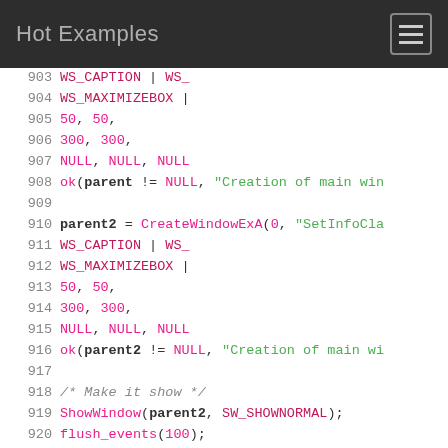Hot Examples
[Figure (screenshot): Syntax-highlighted C code listing, lines 903-922, showing CreateWindowExA calls and related statements on a white background.]